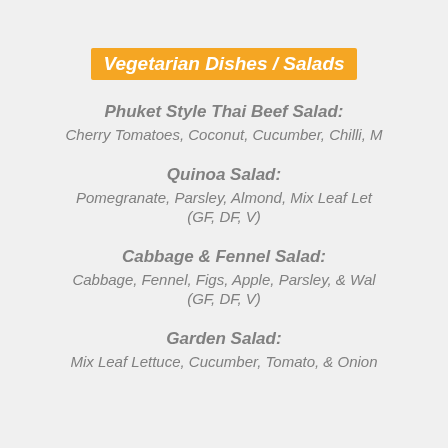Vegetarian Dishes / Salads
Phuket Style Thai Beef Salad:
Cherry Tomatoes, Coconut, Cucumber, Chilli, M...
Quinoa Salad:
Pomegranate, Parsley, Almond, Mix Leaf Let...
(GF, DF, V)
Cabbage & Fennel Salad:
Cabbage, Fennel, Figs, Apple, Parsley, & Wal...
(GF, DF, V)
Garden Salad:
Mix Leaf Lettuce, Cucumber, Tomato, & Onion...